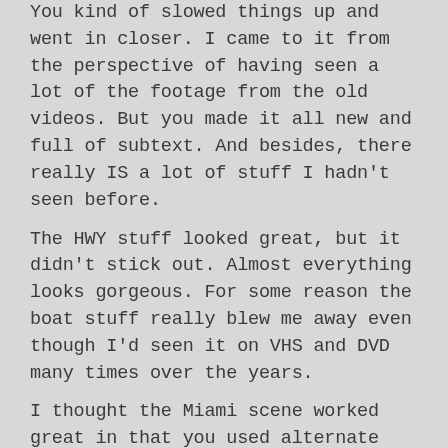You kind of slowed things up and went in closer. I came to it from the perspective of having seen a lot of the footage from the old videos. But you made it all new and full of subtext. And besides, there really IS a lot of stuff I hadn't seen before.
The HWY stuff looked great, but it didn't stick out. Almost everything looks gorgeous. For some reason the boat stuff really blew me away even though I'd seen it on VHS and DVD many times over the years.
I thought the Miami scene worked great in that you used alternate footage artfully so that we know it's not supposed to be actual Miami footage. The way the footage is kind of subdued and mysterious. And for some reason I was impressed with the way you recreated the final phone call between Morrison and Densmore. I loved the playing with the footage that way. Speaking of Miami, I thought it was ironic you went through the Miami trial, the whole thing of: did Jim show his package or didn't he? And then later we see actually see Jim's family jewels anyway. A